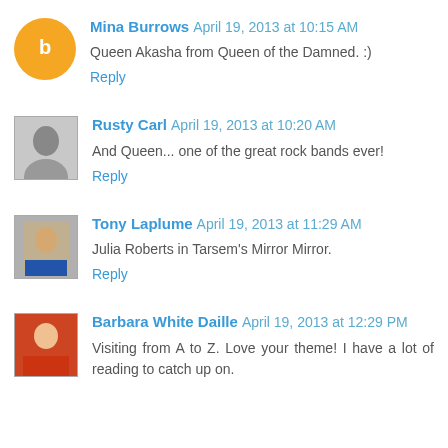Mina Burrows April 19, 2013 at 10:15 AM
Queen Akasha from Queen of the Damned. :)
Reply
Rusty Carl April 19, 2013 at 10:20 AM
And Queen... one of the great rock bands ever!
Reply
Tony Laplume April 19, 2013 at 11:29 AM
Julia Roberts in Tarsem's Mirror Mirror.
Reply
Barbara White Daille April 19, 2013 at 12:29 PM
Visiting from A to Z. Love your theme! I have a lot of reading to catch up on.